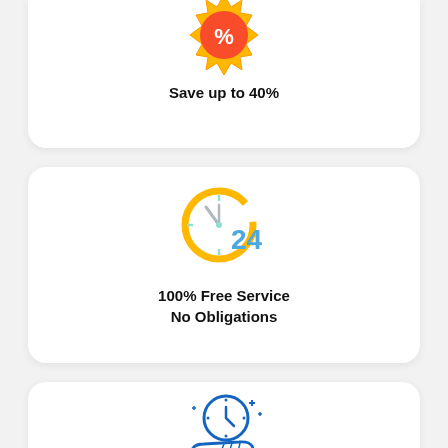[Figure (illustration): Orange and gold badge/seal icon with a white percent sign in the center]
Save up to 40%
[Figure (illustration): Orange circular arrow clock icon with a blue '24' number overlaid, representing 24-hour service]
100% Free Service
No Obligations
[Figure (illustration): Blue outline hand holding a clock icon with sparkle marks around it]
Save Time It only takes a Minute